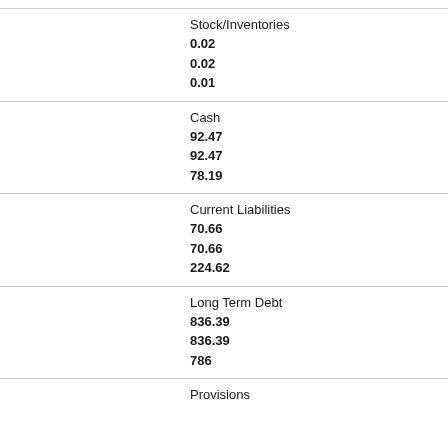Stock/Inventories
0.02
0.02
0.01
Cash
92.47
92.47
78.19
Current Liabilities
70.66
70.66
224.62
Long Term Debt
836.39
836.39
786
Provisions